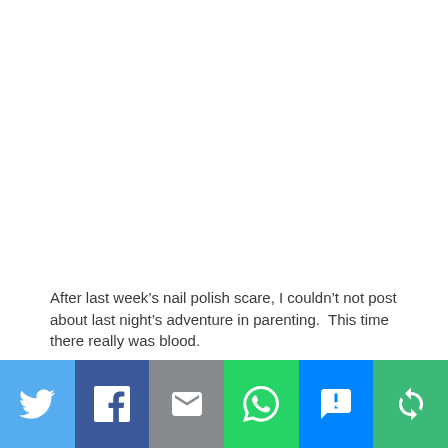After last week’s nail polish scare, I couldn’t not post about last night’s adventure in parenting.  This time there really was blood.
[Figure (other): Social sharing bar with six icon buttons: Twitter (light blue), Facebook (dark blue), Email/envelope (grey), WhatsApp (green), SMS (blue), and a rotate/share icon (green)]